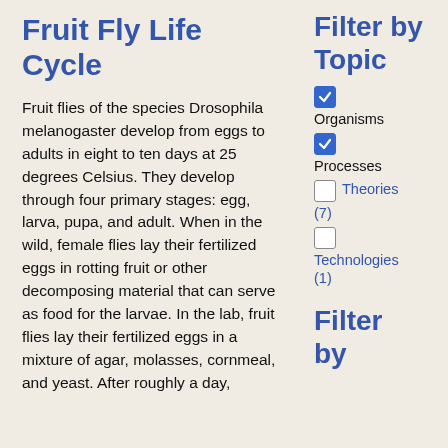Fruit Fly Life Cycle
Fruit flies of the species Drosophila melanogaster develop from eggs to adults in eight to ten days at 25 degrees Celsius. They develop through four primary stages: egg, larva, pupa, and adult. When in the wild, female flies lay their fertilized eggs in rotting fruit or other decomposing material that can serve as food for the larvae. In the lab, fruit flies lay their fertilized eggs in a mixture of agar, molasses, cornmeal, and yeast. After roughly a day,
Filter by Topic
Organisms
Processes
Theories (7)
Technologies (1)
Filter by